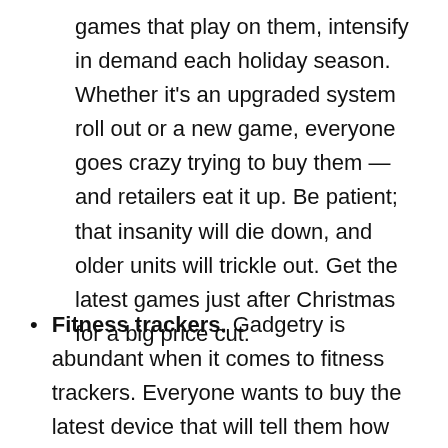games that play on them, intensify in demand each holiday season. Whether it's an upgraded system roll out or a new game, everyone goes crazy trying to buy them — and retailers eat it up. Be patient; that insanity will die down, and older units will trickle out. Get the latest games just after Christmas for a big price cut.
Fitness trackers. Gadgetry is abundant when it comes to fitness trackers. Everyone wants to buy the latest device that will tell them how many calories they've burned or how many